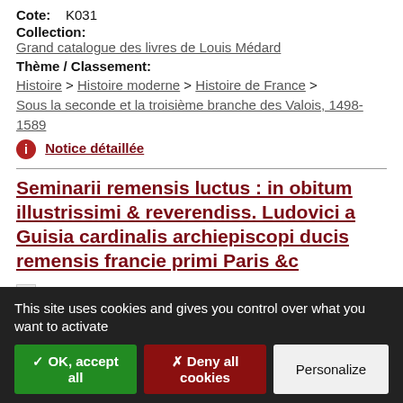Cote: K031
Collection:
Grand catalogue des livres de Louis Médard
Thème / Classement:
Histoire > Histoire moderne > Histoire de France > Sous la seconde et la troisième branche des Valois, 1498-1589
Notice détaillée
Seminarii remensis luctus : in obitum illustrissimi & reverendiss. Ludovici a Guisia cardinalis archiepiscopi ducis remensis francie primi Paris &c
Type:
This site uses cookies and gives you control over what you want to activate
✓ OK, accept all
✗ Deny all cookies
Personalize